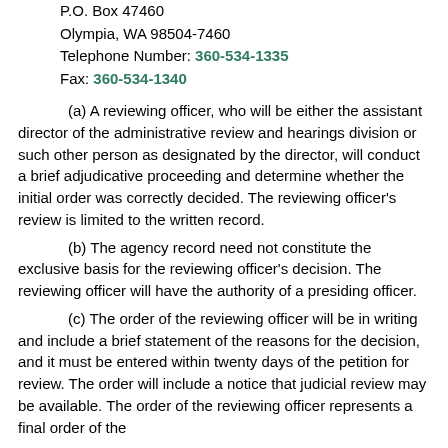P.O. Box 47460
Olympia, WA 98504-7460
Telephone Number: 360-534-1335
Fax: 360-534-1340
(a) A reviewing officer, who will be either the assistant director of the administrative review and hearings division or such other person as designated by the director, will conduct a brief adjudicative proceeding and determine whether the initial order was correctly decided. The reviewing officer's review is limited to the written record.
(b) The agency record need not constitute the exclusive basis for the reviewing officer's decision. The reviewing officer will have the authority of a presiding officer.
(c) The order of the reviewing officer will be in writing and include a brief statement of the reasons for the decision, and it must be entered within twenty days of the petition for review. The order will include a notice that judicial review may be available. The order of the reviewing officer represents a final order of the